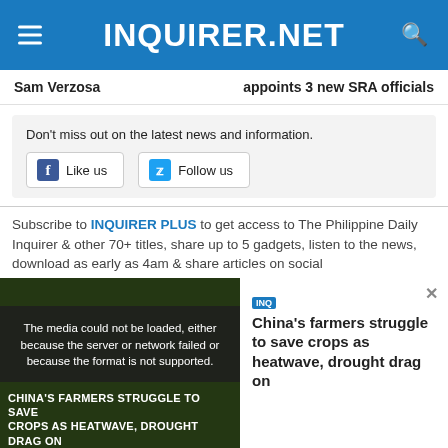INQUIRER.NET
Sam Verzosa
appoints 3 new SRA officials
Don't miss out on the latest news and information. Like us Follow us
Subscribe to INQUIRER PLUS to get access to The Philippine Daily Inquirer & other 70+ titles, share up to 5 gadgets, listen to the news, download as early as 4am & share articles on social
[Figure (screenshot): Video player with error overlay showing: 'The media could not be loaded, either because the server or network failed or because the format is not supported.' Thumbnail shows China farmers story. Close (X) button at bottom.]
China's farmers struggle to save crops as heatwave, drought drag on